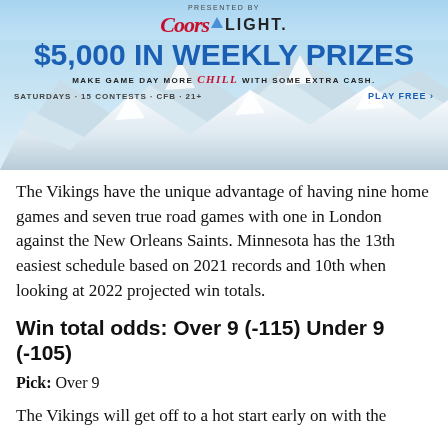[Figure (advertisement): Coors Light advertisement banner. 'PRESENTED BY' text at top, then Coors Light logo with red italic text and blue triangle, '$5,000 IN WEEKLY PRIZES' in large blue bold text, 'MAKE GAME DAY MORE Chill WITH SOME EXTRA CASH.' tagline, 'SATURDAYS · 15 CONTESTS · CFB · 21+' on left and 'PLAY FREE >' on right. Mountain snow background image.]
The Vikings have the unique advantage of having nine home games and seven true road games with one in London against the New Orleans Saints. Minnesota has the 13th easiest schedule based on 2021 records and 10th when looking at 2022 projected win totals.
Win total odds: Over 9 (-115) Under 9 (-105)
Pick: Over 9
The Vikings will get off to a hot start early on with the